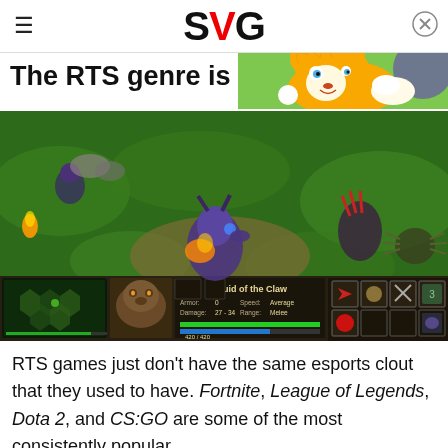SVG
The RTS genre is ba
[Figure (screenshot): Warcraft III gameplay screenshot showing a Druid of the Claw unit on a green grass battlefield, with game UI elements including a minimap, unit portrait, stats panel, and action buttons. Text reads: 'Druid of the Claw', 'Armor: 0', 'Damage: 27-34', 'Speed: Average', 'Range: Melee', '420/420', '161/200']
[Figure (illustration): Animated cartoon character Tails from Sonic the Hedgehog, orange fox with blue eyes, surprised expression, overlaid in top-right corner as an advertisement overlay]
RTS games just don't have the same esports clout that they used to have. Fortnite, League of Legends, Dota 2, and CS:GO are some of the most consistently popular